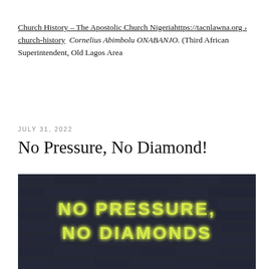Church History – The Apostolic Church Nigeriahttps://tacnlawna.org › church-history  Cornelius Abimbolu ONABANJO. (Third African Superintendent, Old Lagos Area
JULY 31, 2022
No Pressure, No Diamond!
[Figure (photo): Dark brick wall background with neon yellow-green text reading 'NO PRESSURE, NO DIAMONDS']